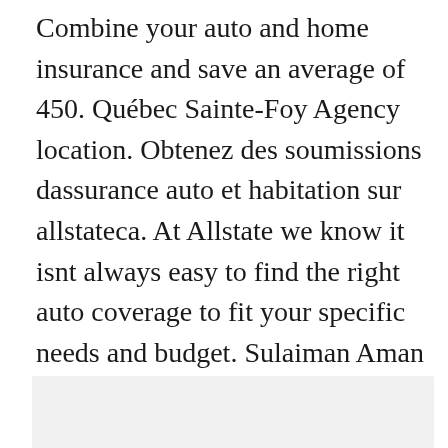Combine your auto and home insurance and save an average of 450. Québec Sainte-Foy Agency location. Obtenez des soumissions dassurance auto et habitation sur allstateca. At Allstate we know it isnt always easy to find the right auto coverage to fit your specific needs and budget. Sulaiman Aman - Brossard - phone number website address opening hours - QC - Insurance Agents.
[Figure (other): Gray rectangular box at the bottom of the page, likely an image placeholder or advertisement block.]